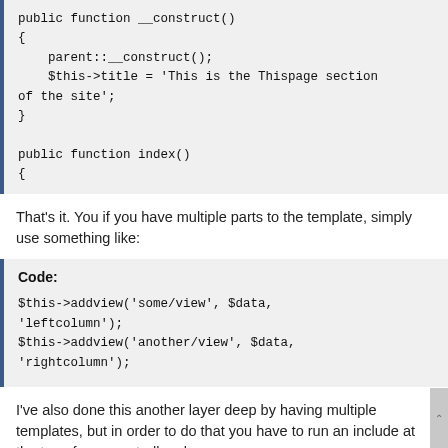public function __construct()
{
    parent::__construct();
    $this->title = 'This is the Thispage section of the site';
}

public function index()
{
That's it. You if you have multiple parts to the template, simply use something like:
Code:

$this->addview('some/view', $data, 'leftcolumn');
$this->addview('another/view', $data, 'rightcolumn');
I've also done this another layer deep by having multiple templates, but in order to do that you have to run an include at the top of your controller class.